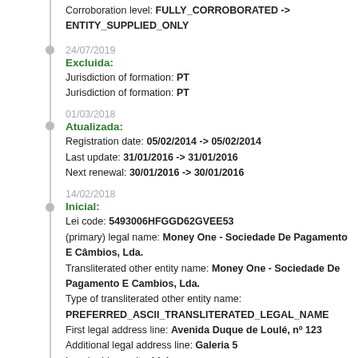Corroboration level: FULLY_CORROBORATED -> ENTITY_SUPPLIED_ONLY
24/07/2019
Excluida:
Jurisdiction of formation: PT
Jurisdiction of formation: PT
01/03/2018
Atualizada:
Registration date: 05/02/2014 -> 05/02/2014
Last update: 31/01/2016 -> 31/01/2016
Next renewal: 30/01/2016 -> 30/01/2016
14/02/2018
Inicial:
Lei code: 5493006HFGGD62GVEE53
(primary) legal name: Money One - Sociedade De Pagamento E Câmbios, Lda.
Transliterated other entity name: Money One - Sociedade De Pagamento E Cambios, Lda.
Type of transliterated other entity name: PREFERRED_ASCII_TRANSLITERATED_LEGAL_NAME
First legal address line: Avenida Duque de Loulé, nº 123
Additional legal address line: Galeria 5
Legal address city: Lisbon
Legal address region: PT-12
Legal address country: PT